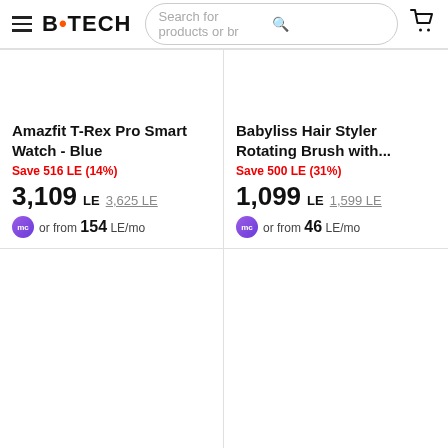B.TECH — Search for products or br
Amazfit T-Rex Pro Smart Watch - Blue
Save 516 LE (14%)
3,109 LE  3,625 LE  or from 154 LE/mo
Babyliss Hair Styler Rotating Brush with...
Save 500 LE (31%)
1,099 LE  1,599 LE  or from 46 LE/mo